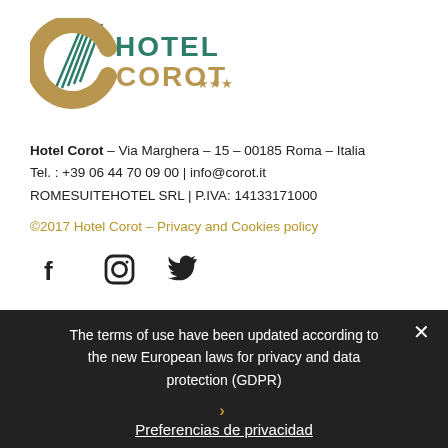[Figure (logo): Hotel Corot logo with teal and gold lettering and stylized pen/quill graphic]
Hotel Corot – Via Marghera – 15 – 00185 Roma – Italia
Tel. : +39 06 44 70 09 00 | info@corot.it
ROMESUITEHOTEL SRL | P.IVA: 14133171000
©2017 Hotel Corot – Privacy and Cookies policy
[Figure (illustration): Social media icons: Facebook, Instagram, Twitter]
The terms of use have been updated according to the new European laws for privacy and data protection (GDPR)
Preferencias de privacidad